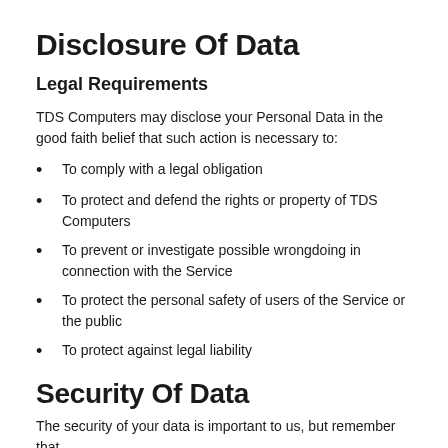Disclosure Of Data
Legal Requirements
TDS Computers may disclose your Personal Data in the good faith belief that such action is necessary to:
To comply with a legal obligation
To protect and defend the rights or property of TDS Computers
To prevent or investigate possible wrongdoing in connection with the Service
To protect the personal safety of users of the Service or the public
To protect against legal liability
Security Of Data
The security of your data is important to us, but remember that